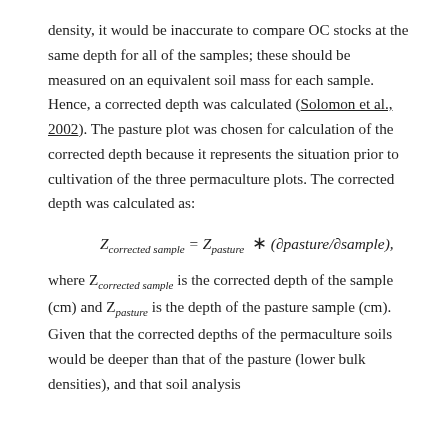density, it would be inaccurate to compare OC stocks at the same depth for all of the samples; these should be measured on an equivalent soil mass for each sample. Hence, a corrected depth was calculated (Solomon et al., 2002). The pasture plot was chosen for calculation of the corrected depth because it represents the situation prior to cultivation of the three permaculture plots. The corrected depth was calculated as:
where Z_corrected sample is the corrected depth of the sample (cm) and Z_pasture is the depth of the pasture sample (cm). Given that the corrected depths of the permaculture soils would be deeper than that of the pasture (lower bulk densities), and that soil analysis...